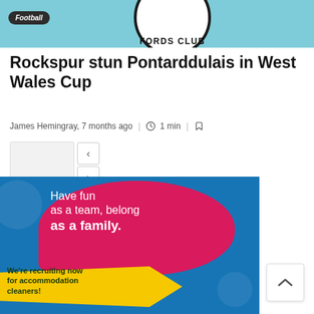[Figure (photo): Top banner with light blue background showing partial circular club badge with text 'FORDS CLUB' and a 'Football' label badge in dark pill shape on the left]
Rockspur stun Pontarddulais in West Wales Cup
James Hemingray, 7 months ago | 1 min
[Figure (photo): Image navigation area with a thumbnail placeholder and left/right arrow navigation buttons]
[Figure (illustration): Advertisement banner with blue floral background, pink speech bubble saying 'Have fun as a team, belong as a family.' and yellow arrow shape with text 'We're recruiting now for accommodation cleaners!']